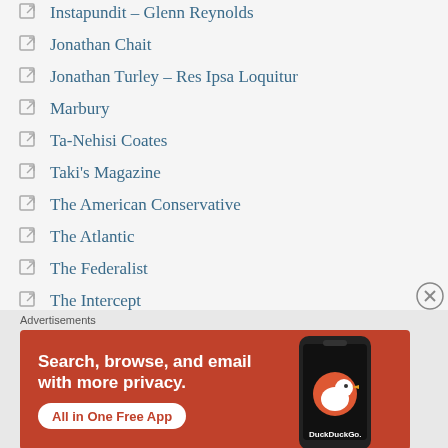Instapundit – Glenn Reynolds
Jonathan Chait
Jonathan Turley – Res Ipsa Loquitur
Marbury
Ta-Nehisi Coates
Taki's Magazine
The American Conservative
The Atlantic
The Federalist
The Intercept
[Figure (screenshot): DuckDuckGo advertisement banner: orange/red background with text 'Search, browse, and email with more privacy. All in One Free App' and a phone image with DuckDuckGo logo]
Advertisements